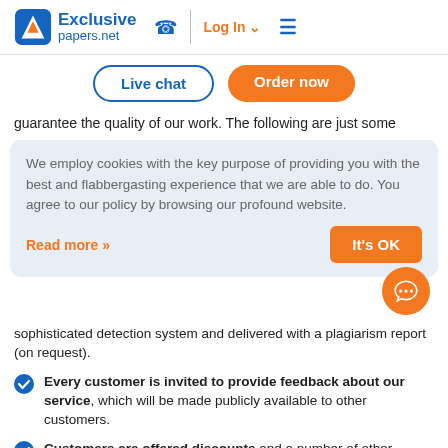[Figure (logo): Exclusive papers.net logo with phone icon, Log In button, and hamburger menu]
Live chat | Order now
guarantee the quality of our work. The following are just some
We employ cookies with the key purpose of providing you with the best and flabbergasting experience that we are able to do. You agree to our policy by browsing our profound website.
Read more »
It's OK
sophisticated detection system and delivered with a plagiarism report (on request).
Every customer is invited to provide feedback about our service, which will be made publicly available to other customers.
Customers are offered discounts and a number of other benefits.
Exceptional customer support provided 24/7/365.